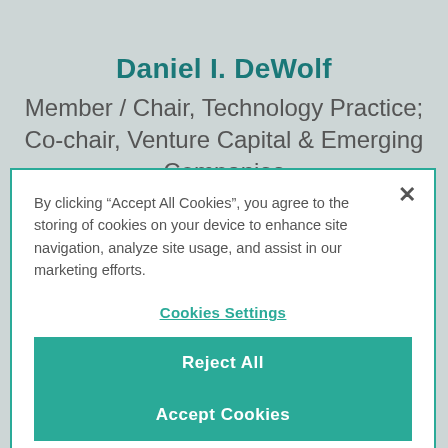Daniel I. DeWolf
Member / Chair, Technology Practice; Co-chair, Venture Capital & Emerging Companies
By clicking "Accept All Cookies", you agree to the storing of cookies on your device to enhance site navigation, analyze site usage, and assist in our marketing efforts.
Cookies Settings
Reject All
Accept Cookies